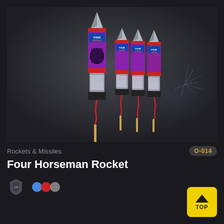[Figure (photo): Four rocket fireworks with 'Four Horseman' branding labels, featuring metallic spike tips and red fuses with wooden sticks, grouped together on a dark background.]
Rockets & Missiles
O-014
Four Horseman Rocket
[Figure (logo): Small grey shield/crest logo icon]
[Figure (illustration): Blue, red and grey circle icons (color effect indicators)]
[Figure (other): Yellow TOP button with upward chevron arrow]